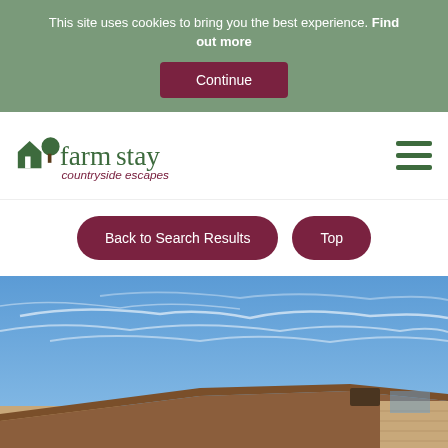This site uses cookies to bring you the best experience. Find out more
Continue
[Figure (logo): Farmstay Countryside Escapes logo with farm icon and tree]
[Figure (illustration): Hamburger menu icon with three horizontal green lines]
Back to Search Results
Top
[Figure (photo): Outdoor photo showing a blue sky with wispy clouds and the rooftop of a farm building with brown tiles and brick walls]